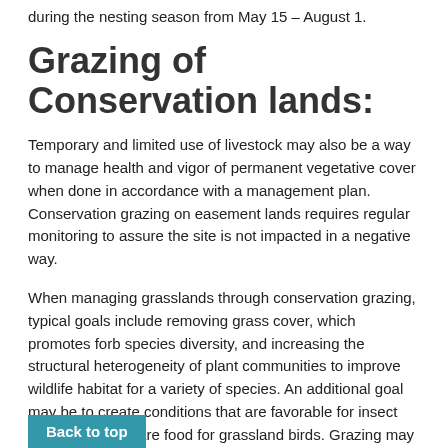during the nesting season from May 15 – August 1.
Grazing of Conservation lands:
Temporary and limited use of livestock may also be a way to manage health and vigor of permanent vegetative cover when done in accordance with a management plan. Conservation grazing on easement lands requires regular monitoring to assure the site is not impacted in a negative way.
When managing grasslands through conservation grazing, typical goals include removing grass cover, which promotes forb species diversity, and increasing the structural heterogeneity of plant communities to improve wildlife habitat for a variety of species. An additional goal may be to create conditions that are favorable for insect populations that are food for grassland birds. Grazing may not be recommended for high-functioning plant communities or plant communities that contain grazing-sensitive species or are connected to sensitive water resources.